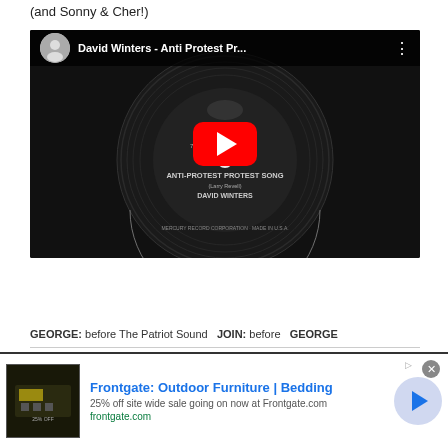(and Sonny & Cher!)
[Figure (screenshot): YouTube video thumbnail showing a Mercury Records vinyl record with 'Anti-Protest Protest Song' by David Winters. Red YouTube play button centered. Video title bar at top reads 'David Winters - Anti Protest Pr...']
GEORGE: before The Patriot Sound  JOIN: before  GEORGE
[Figure (screenshot): Advertisement banner for Frontgate: Outdoor Furniture | Bedding. Shows product image, text '25% off site wide sale going on now at Frontgate.com', URL 'frontgate.com', and a blue arrow button.]